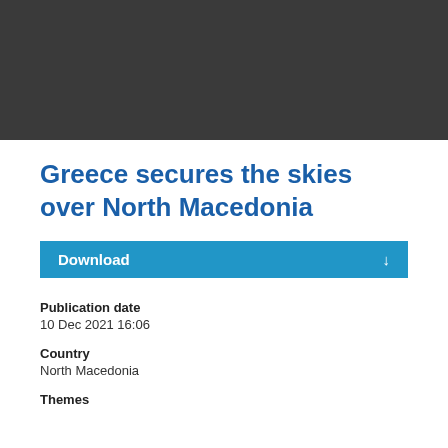[Figure (photo): Dark banner image at the top of the page, appears to be a dark grey/charcoal colored header image]
Greece secures the skies over North Macedonia
Download
Publication date
10 Dec 2021 16:06
Country
North Macedonia
Themes